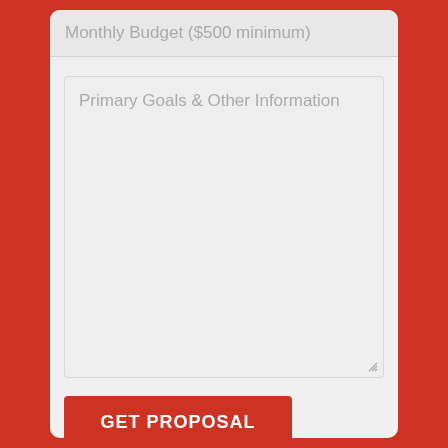Monthly Budget ($500 minimum)
Primary Goals & Other Information
GET PROPOSAL